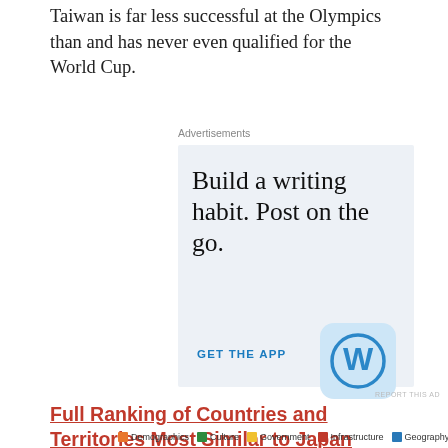Taiwan is far less successful at the Olympics than and has never even qualified for the World Cup.
[Figure (other): WordPress advertisement: 'Build a writing habit. Post on the go. GET THE APP' with WordPress logo icon on light blue background]
REPORT THIS AD
Full Ranking of Countries and Territories Most Similar to Japan
Demographics  Culture  Government  Infrastructure  Geography